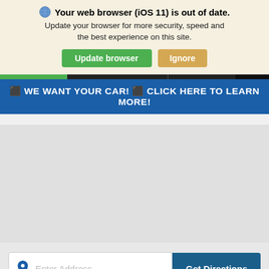🌐 Your web browser (iOS 11) is out of date. Update your browser for more security, speed and the best experience on this site.
Update browser | Ignore
🚗 WE WANT YOUR CAR! 🚗 CLICK HERE TO LEARN MORE!
[Figure (map): Grey map area placeholder]
Enter Address ...
Get Directions